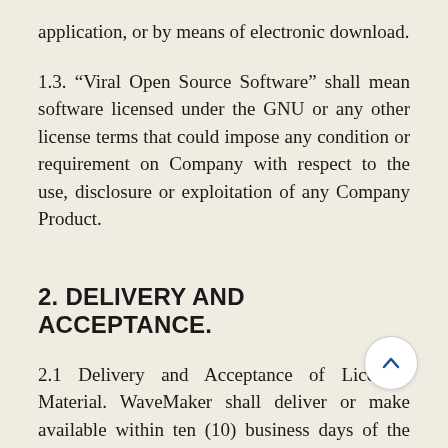application, or by means of electronic download.
1.3. “Viral Open Source Software” shall mean software licensed under the GNU or any other license terms that could impose any condition or requirement on Company with respect to the use, disclosure or exploitation of any Company Product.
2. DELIVERY AND ACCEPTANCE.
2.1 Delivery and Acceptance of Licensed Material. WaveMaker shall deliver or make available within ten (10) business days of the signing of this Agreement, the Licensed Materials to Company at no cost and WaveMaker shall optionally assist the